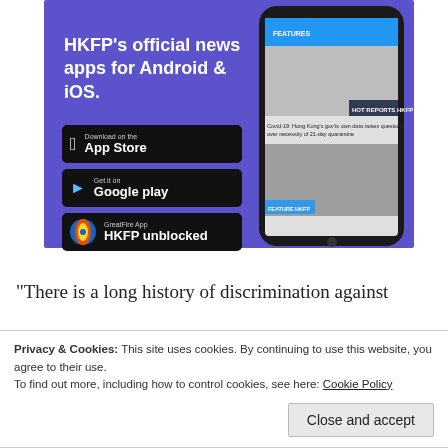[Figure (screenshot): HKFP app advertisement banner with purple background showing HKFP logo, headline text, app store download buttons (App Store, Google Play, GreatFire App), and a phone displaying the HKFP news app]
“There is a long history of discrimination against
Privacy & Cookies: This site uses cookies. By continuing to use this website, you agree to their use.
To find out more, including how to control cookies, see here: Cookie Policy
Close and accept